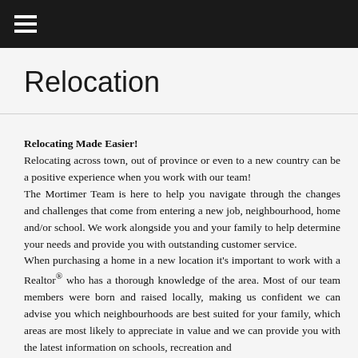≡
Relocation
Relocating Made Easier!
Relocating across town, out of province or even to a new country can be a positive experience when you work with our team!
The Mortimer Team is here to help you navigate through the changes and challenges that come from entering a new job, neighbourhood, home and/or school. We work alongside you and your family to help determine your needs and provide you with outstanding customer service.
When purchasing a home in a new location it's important to work with a Realtor® who has a thorough knowledge of the area. Most of our team members were born and raised locally, making us confident we can advise you which neighbourhoods are best suited for your family, which areas are most likely to appreciate in value and we can provide you with the latest information on schools, recreation and